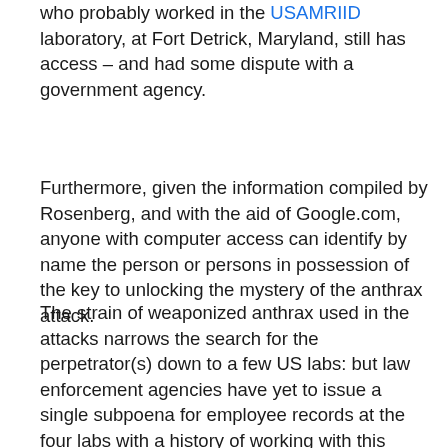who probably worked in the USAMRIID laboratory, at Fort Detrick, Maryland, still has access – and had some dispute with a government agency.
Furthermore, given the information compiled by Rosenberg, and with the aid of Google.com, anyone with computer access can identify by name the person or persons in possession of the key to unlocking the mystery of the anthrax attack.
The strain of weaponized anthrax used in the attacks narrows the search for the perpetrator(s) down to a few US labs: but law enforcement agencies have yet to issue a single subpoena for employee records at the four labs with a history of working with this strain. We know about the anthrax letters, of course, and the several hoax letters, but a major clue in this investigation is an anonymous letter,